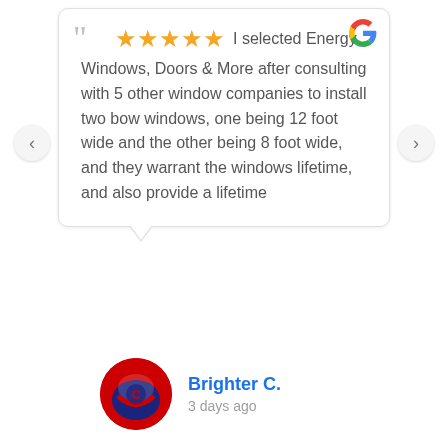[Figure (screenshot): Google review card with 5 orange stars and review text from Brighter C., posted 3 days ago. Review text: 'I selected Energy Windows, Doors & More after consulting with 5 other window companies to install two bow windows, one being 12 foot wide and the other being 8 foot wide, and they warrant the windows lifetime, and also provide a lifetime']
I selected Energy Windows, Doors & More after consulting with 5 other window companies to install two bow windows, one being 12 foot wide and the other being 8 foot wide, and they warrant the windows lifetime, and also provide a lifetime
Brighter C.
3 days ago